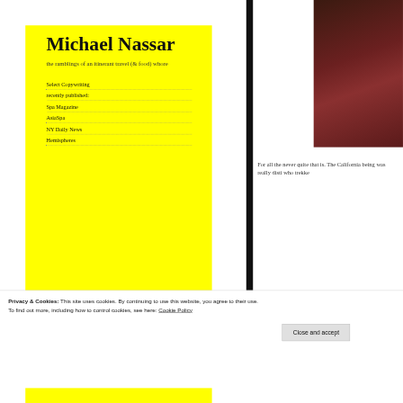Michael Nassar
the ramblings of an itinerant travel (& food) whore
Select Copywriting
recently published:
Spa Magazine
AsiaSpa
NY Daily News
Hemispheres
[Figure (photo): Dark reddish-brown decorative photo in top-right corner]
For all the never quite that is. The California being was really disti who trekke
Privacy & Cookies: This site uses cookies. By continuing to use this website, you agree to their use.
To find out more, including how to control cookies, see here: Cookie Policy
Close and accept